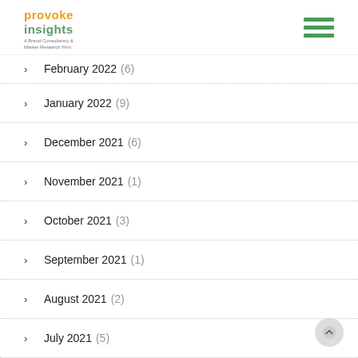provoke insights — A Brand Consultancy & Market Research Firm
February 2022 (6)
January 2022 (9)
December 2021 (6)
November 2021 (1)
October 2021 (3)
September 2021 (1)
August 2021 (2)
July 2021 (5)
June 2021 (3)